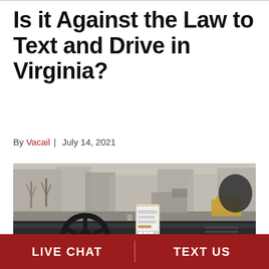Is it Against the Law to Text and Drive in Virginia?
By Vacail | July 14, 2021
[Figure (photo): Interior view from a car dashboard showing a person holding a smartphone while driving, with a steering wheel in the foreground and a city street visible through the windshield.]
LIVE CHAT | TEXT US